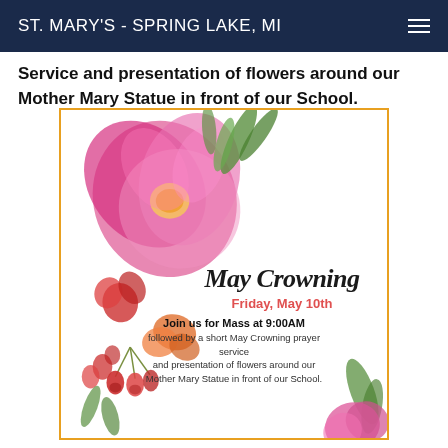ST. MARY'S - SPRING LAKE, MI
Service and presentation of flowers around our Mother Mary Statue in front of our School.
[Figure (illustration): May Crowning flyer with watercolor floral decorations. Text reads: May Crowning, Friday, May 10th. Join us for Mass at 9:00AM followed by a short May Crowning prayer service and presentation of flowers around our Mother Mary Statue in front of our School.]